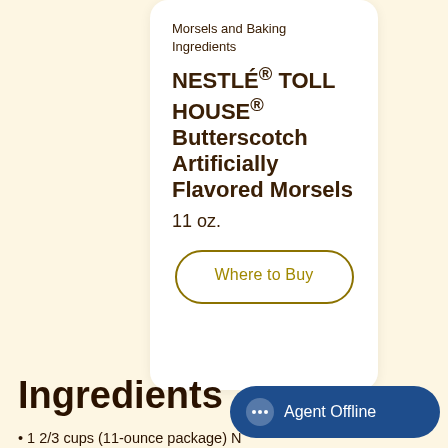Morsels and Baking Ingredients
NESTLÉ® TOLL HOUSE® Butterscotch Artificially Flavored Morsels 11 oz.
Where to Buy
Ingredients
1 2/3 cups (11-ounce package) NESTLÉ® TOLL HOUSE® Butterscotch Flavored Morsels, divided
Agent Offline